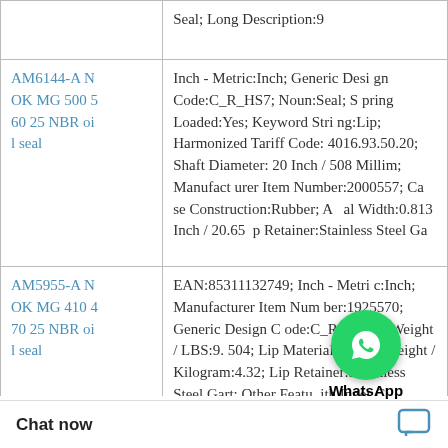| Product | Description |
| --- | --- |
|  | Seal; Long Description:9 |
| AM6144-A NOK MG 500 560 25 NBR oil seal | Inch - Metric:Inch; Generic Design Code:C_R_HS7; Noun:Seal; Spring Loaded:Yes; Keyword String:Lip; Harmonized Tariff Code:4016.93.50.20; Shaft Diameter:20 Inch / 508 Millim; Manufacturer Item Number:2000557; Case Construction:Rubber; Axial Width:0.813 Inch / 20.65; Lip Retainer:Stainless Steel Ga |
| AM5955-A NOK MG 410 470 25 NBR oil seal | EAN:85311132749; Inch - Metric:Inch; Manufacturer Item Number:1925570; Generic Design Code:C_R_HDS1; Weight / LBS:9.504; Lip Material:Nitrile; Weight / Kilogram:4.32; Lip Retainer:Stainless Steel Gart; Other Features with Inner C; Nominal B Inch / 23.825; Harmonized Tariff Code:401 |
Chat now